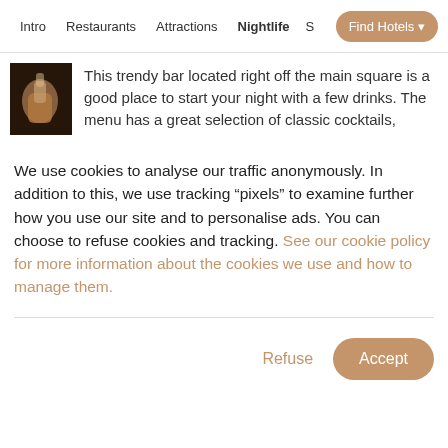Intro  Restaurants  Attractions  Nightlife  S  Find Hotels
[Figure (photo): Thumbnail photo of a hand holding a cocktail glass, dark background]
This trendy bar located right off the main square is a good place to start your night with a few drinks. The menu has a great selection of classic cocktails,
We use cookies to analyse our traffic anonymously. In addition to this, we use tracking “pixels” to examine further how you use our site and to personalise ads. You can choose to refuse cookies and tracking. See our cookie policy for more information about the cookies we use and how to manage them.